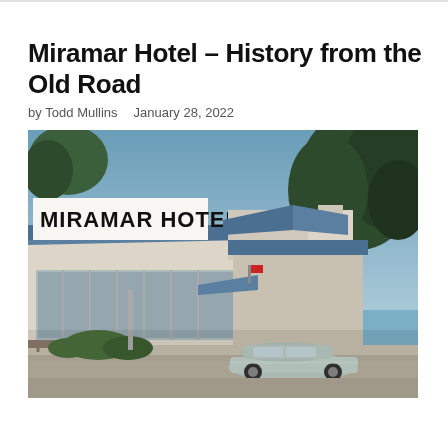Miramar Hotel – History from the Old Road
by Todd Mullins   January 28, 2022
[Figure (photo): Vintage color photograph of the Miramar Hotel exterior showing a mid-century modern building with a large sign reading 'MIRAMAR HOTEL', blue roof panels, large windows, and a classic 1950s-era automobile parked in front. Trees are visible in the background.]